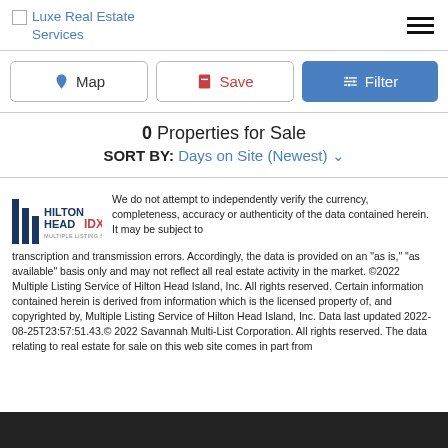Luxe Real Estate Services
Map | Save | Filter
0 Properties for Sale
SORT BY: Days on Site (Newest)
[Figure (logo): Hilton Head IDX Multiple Listing Service logo]
We do not attempt to independently verify the currency, completeness, accuracy or authenticity of the data contained herein. It may be subject to transcription and transmission errors. Accordingly, the data is provided on an "as is," "as available" basis only and may not reflect all real estate activity in the market. ©2022 Multiple Listing Service of Hilton Head Island, Inc. All rights reserved. Certain information contained herein is derived from information which is the licensed property of, and copyrighted by, Multiple Listing Service of Hilton Head Island, Inc. Data last updated 2022-08-25T23:57:51.43.© 2022 Savannah Multi-List Corporation. All rights reserved. The data relating to real estate for sale on this web site comes in part from